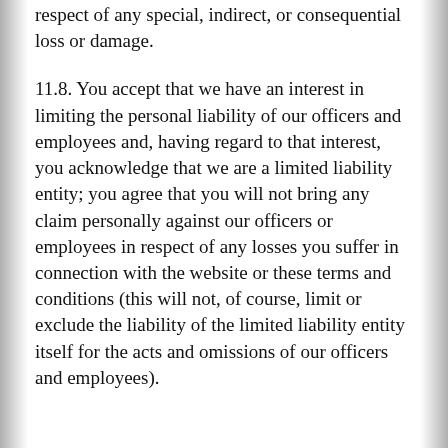respect of any special, indirect, or consequential loss or damage.
11.8. You accept that we have an interest in limiting the personal liability of our officers and employees and, having regard to that interest, you acknowledge that we are a limited liability entity; you agree that you will not bring any claim personally against our officers or employees in respect of any losses you suffer in connection with the website or these terms and conditions (this will not, of course, limit or exclude the liability of the limited liability entity itself for the acts and omissions of our officers and employees).